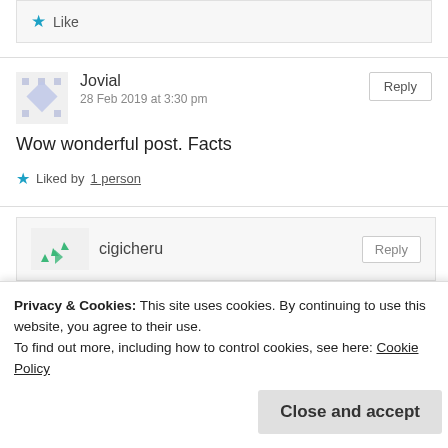Like
Jovial
28 Feb 2019 at 3:30 pm
Reply
Wow wonderful post. Facts
Liked by 1 person
cigicheru
Reply
Privacy & Cookies: This site uses cookies. By continuing to use this website, you agree to their use.
To find out more, including how to control cookies, see here: Cookie Policy
Close and accept